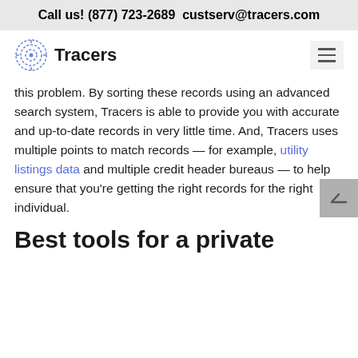Call us! (877) 723-2689  custserv@tracers.com
Tracers
this problem. By sorting these records using an advanced search system, Tracers is able to provide you with accurate and up-to-date records in very little time. And, Tracers uses multiple points to match records — for example, utility listings data and multiple credit header bureaus — to help ensure that you're getting the right records for the right individual.
Best tools for a private